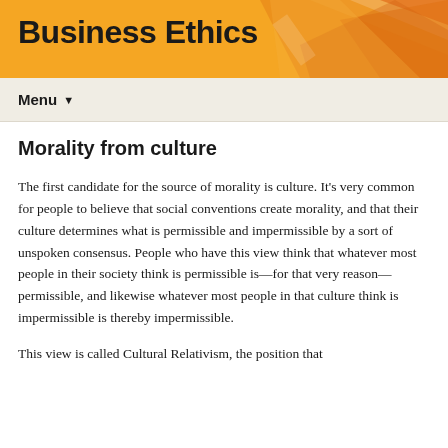Business Ethics
Menu
Morality from culture
The first candidate for the source of morality is culture. It's very common for people to believe that social conventions create morality, and that their culture determines what is permissible and impermissible by a sort of unspoken consensus. People who have this view think that whatever most people in their society think is permissible is—for that very reason—permissible, and likewise whatever most people in that culture think is impermissible is thereby impermissible.
This view is called Cultural Relativism, the position that